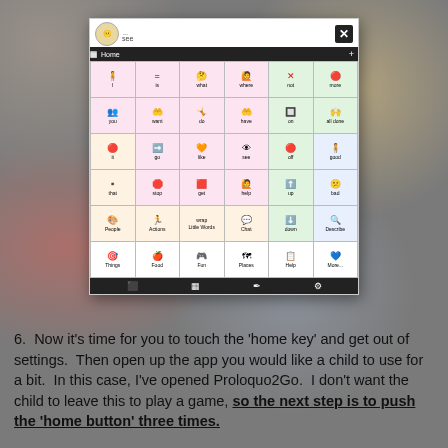[Figure (screenshot): Screenshot of Proloquo2Go AAC app showing a home screen grid with symbol/word buttons including: I, is, what, where, not, more, you, want, do, have, on, all done, it, go, like, see, off, good, that, stop, get, help, up, bad, People, Actions, Little Words, Chat, down, Describe, Things, Food, Fun, Places, Help, More... and a bottom toolbar.]
6.  Now it's time for you to touch the 'home key' and get out of settings.  Then open up the app you would like a child to use for a bit.  In this case, I've opened Proloquo2Go.  I don't want the child to leave this to play a game, so the next step is to push the 'home button' three times.